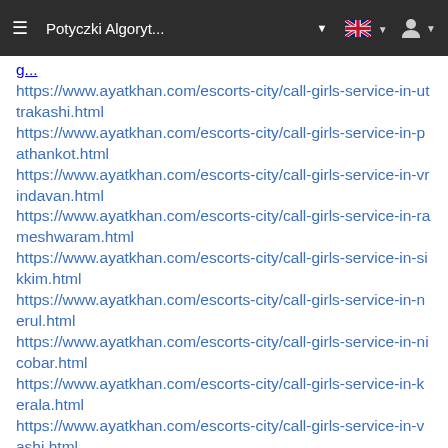≡  Potyczki Algoryt...  ▼  [GB flag] ▼  [user] ▼
https://www.ayatkhan.com/escorts-city/call-girls-service-in-uttrakashi.html
https://www.ayatkhan.com/escorts-city/call-girls-service-in-pathankot.html
https://www.ayatkhan.com/escorts-city/call-girls-service-in-vrindavan.html
https://www.ayatkhan.com/escorts-city/call-girls-service-in-rameshwaram.html
https://www.ayatkhan.com/escorts-city/call-girls-service-in-sikkim.html
https://www.ayatkhan.com/escorts-city/call-girls-service-in-nerul.html
https://www.ayatkhan.com/escorts-city/call-girls-service-in-nicobar.html
https://www.ayatkhan.com/escorts-city/call-girls-service-in-kerala.html
https://www.ayatkhan.com/escorts-city/call-girls-service-in-vashi.html
https://www.ayatkhan.com/escorts-city/call-girls-service-in-hosur.html